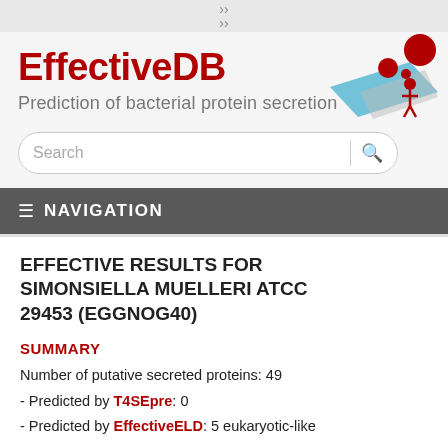[Figure (logo): EffectiveDB logo with red text and an illustration of molecules/bacteria on a blue surface with red spheres]
Prediction of bacterial protein secretion
Search
NAVIGATION
EFFECTIVE RESULTS FOR SIMONSIELLA MUELLERI ATCC 29453 (EGGNOG40)
SUMMARY
Number of putative secreted proteins: 49
- Predicted by T4SEpre: 0
- Predicted by EffectiveELD: 5 eukaryotic-like